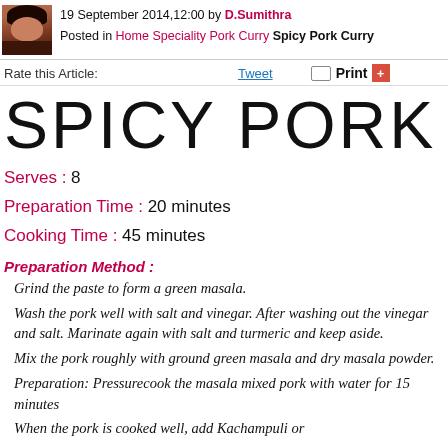19 September 2014,12:00 by D.Sumithra Posted in Home Speciality Pork Curry Spicy Pork Curry
Rate this Article:    Tweet    Print
SPICY PORK CURRY
Serves : 8
Preparation Time : 20 minutes
Cooking Time : 45 minutes
Preparation Method :
Grind the paste to form a green masala.
Wash the pork well with salt and vinegar. After washing out the vinegar and salt. Marinate again with salt and turmeric and keep aside.
Mix the pork roughly with ground green masala and dry masala powder.
Preparation: Pressurecook the masala mixed pork with water for 15 minutes
When the pork is cooked well, add Kachampuli or